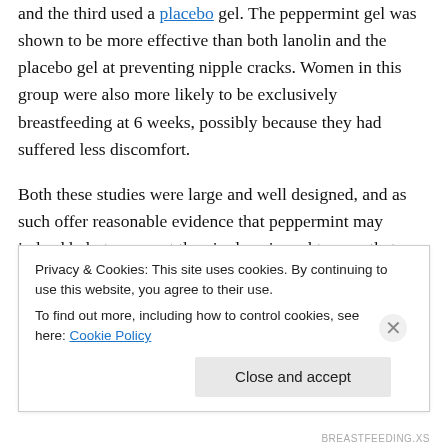and the third used a placebo gel. The peppermint gel was shown to be more effective than both lanolin and the placebo gel at preventing nipple cracks. Women in this group were also more likely to be exclusively breastfeeding at 6 weeks, possibly because they had suffered less discomfort.
Both these studies were large and well designed, and as such offer reasonable evidence that peppermint may indeed help to prevent the nipple pain and trauma that can occur when women start to breastfeed. These results alone, however, do not constitute conclusive proof that
Privacy & Cookies: This site uses cookies. By continuing to use this website, you agree to their use.
To find out more, including how to control cookies, see here: Cookie Policy